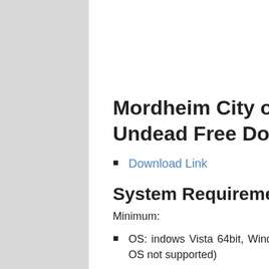Mordheim City of the Damned Undead Free Download
Download Link
System Requirements
Minimum:
OS: indows Vista 64bit, Window 7 64bit, Windows 8 64bit, Windows 10 64bit (32bit OS not supported)
Processor: AMD/INTEL Dual-Core 2.4 GHz